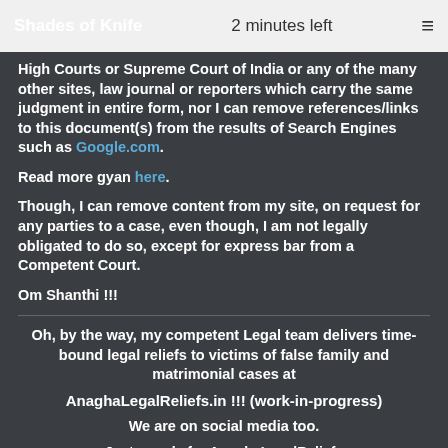Shades of Knife   2 minutes left   ≡
High Courts or Supreme Court of India or any of the many other sites, law journal or reporters which carry the same judgment in entire form, nor I can remove references/links to this document(s) from the results of Search Engines such as Google.com.
Read more gyan here.
Though, I can remove content from my site, on request for any parties to a case, even though, I am not legally obligated to do so, except for express bar from a Competent Court.
Om Shanthi !!!
Oh, by the way, my competent Legal team delivers time-bound legal reliefs to victims of false family and matrimonial cases at
AnaghaLegalReliefs.in !!! (work-in-progress)
We are on social media too.
Just google for AnaghaLegalReliefs